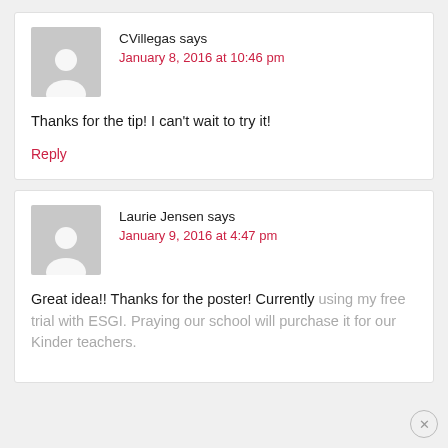CVillegas says
January 8, 2016 at 10:46 pm
Thanks for the tip! I can't wait to try it!
Reply
Laurie Jensen says
January 9, 2016 at 4:47 pm
Great idea!! Thanks for the poster! Currently using my free trial with ESGI. Praying our school will purchase it for our Kinder teachers.